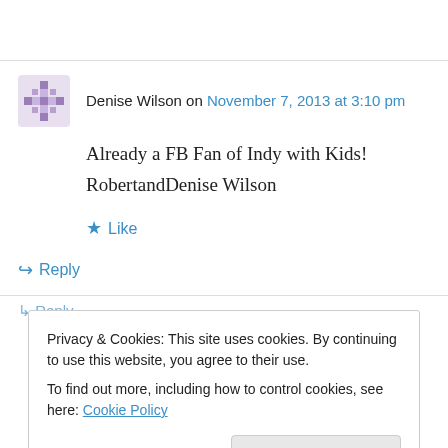Denise Wilson on November 7, 2013 at 3:10 pm
Already a FB Fan of Indy with Kids!
RobertandDenise Wilson
★ Like
↳ Reply
Privacy & Cookies: This site uses cookies. By continuing to use this website, you agree to their use.
To find out more, including how to control cookies, see here: Cookie Policy
Close and accept